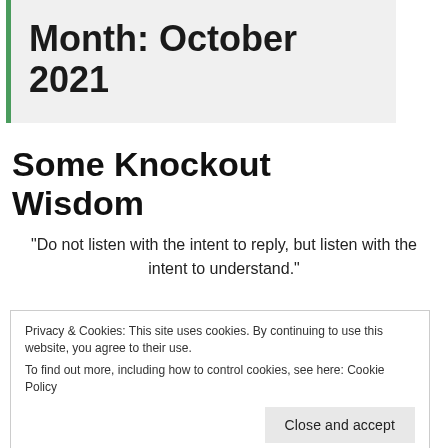Month: October 2021
Some Knockout Wisdom
“Do not listen with the intent to reply, but listen with the intent to understand.”
Privacy & Cookies: This site uses cookies. By continuing to use this website, you agree to their use.
To find out more, including how to control cookies, see here: Cookie Policy
Close and accept
After reading a book about Heavyweight Boxing